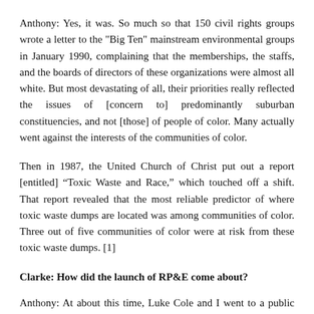Anthony: Yes, it was. So much so that 150 civil rights groups wrote a letter to the "Big Ten" mainstream environmental groups in January 1990, complaining that the memberships, the staffs, and the boards of directors of these organizations were almost all white. But most devastating of all, their priorities really reflected the issues of [concern to] predominantly suburban constituencies, and not [those] of people of color. Many actually went against the interests of the communities of color.
Then in 1987, the United Church of Christ put out a report [entitled] “Toxic Waste and Race,” which touched off a shift. That report revealed that the most reliable predictor of where toxic waste dumps are located was among communities of color. Three out of five communities of color were at risk from these toxic waste dumps. [1]
Clarke: How did the launch of RP&E come about?
Anthony: At about this time, Luke Cole and I went to a public interest legal conference in Oregon. A thousand lawyers were there, all of whom were white. In reaction to this experience, when we got home we had a little caucus with a few people to talk about [issues that